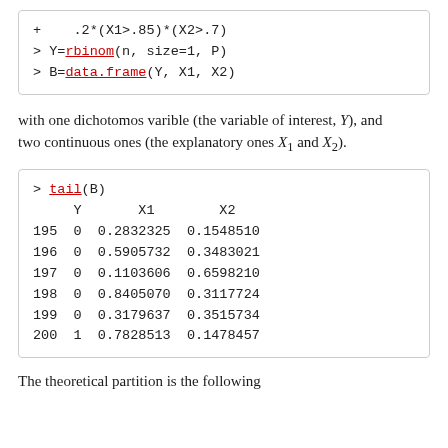+   .2*(X1>.85)*(X2>.7)
> Y=rbinom(n, size=1, P)
> B=data.frame(Y, X1, X2)
with one dichotomos varible (the variable of interest, Y), and two continuous ones (the explanatory ones X1 and X2).
> tail(B)
     Y       X1        X2
195  0  0.2832325  0.1548510
196  0  0.5905732  0.3483021
197  0  0.1103606  0.6598210
198  0  0.8405070  0.3117724
199  0  0.3179637  0.3515734
200  1  0.7828513  0.1478457
The theoretical partition is the following